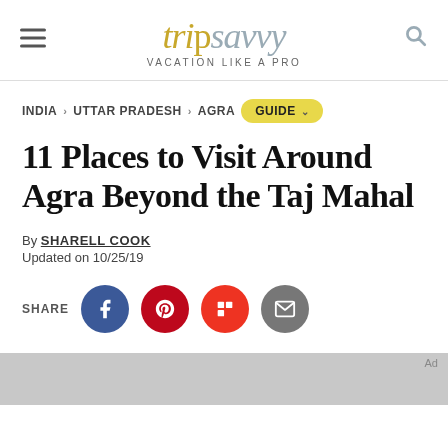tripsavvy VACATION LIKE A PRO
INDIA > UTTAR PRADESH > AGRA GUIDE
11 Places to Visit Around Agra Beyond the Taj Mahal
By SHARELL COOK
Updated on 10/25/19
[Figure (infographic): Social share buttons: Facebook, Pinterest, Flipboard, Email]
[Figure (other): Advertisement bar at bottom]